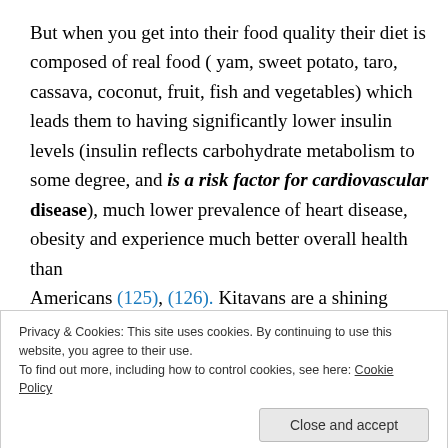But when you get into their food quality their diet is composed of real food ( yam, sweet potato, taro, cassava, coconut, fruit, fish and vegetables) which leads them to having significantly lower insulin levels (insulin reflects carbohydrate metabolism to some degree, and is a risk factor for cardiovascular disease), much lower prevalence of heart disease, obesity and experience much better overall health than Americans (125), (126). Kitavans are a shining example that people can eat real food in a variety of manners, high carbohydrate or high fat, and experience very
Privacy & Cookies: This site uses cookies. By continuing to use this website, you agree to their use.
To find out more, including how to control cookies, see here: Cookie Policy
either